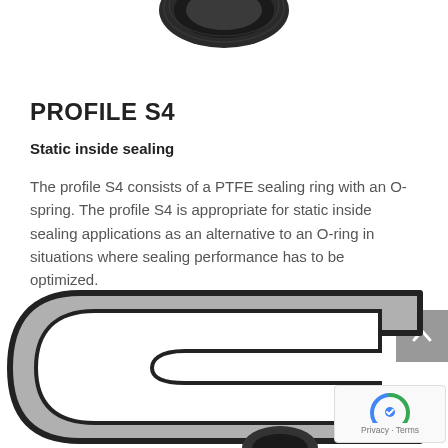[Figure (photo): Partial view of a dark-colored sealing ring component at top of page]
PROFILE S4
Static inside sealing
The profile S4 consists of a PTFE sealing ring with an O-spring. The profile S4 is appropriate for static inside sealing applications as an alternative to an O-ring in situations where sealing performance has to be optimized.
[Figure (illustration): Cross-section diagram of a C-shaped sealing profile (Profile S4) shown in gray with dark border outline, partially visible at bottom of page]